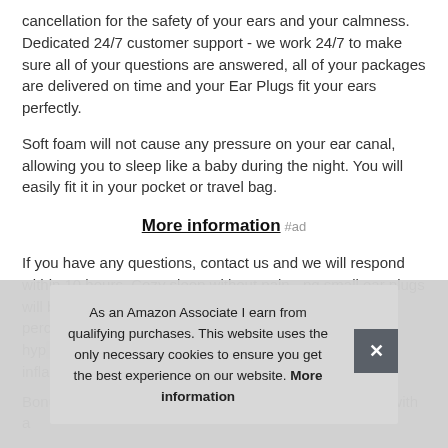cancellation for the safety of your ears and your calmness. Dedicated 24/7 customer support - we work 24/7 to make sure all of your questions are answered, all of your packages are delivered on time and your Ear Plugs fit your ears perfectly.
Soft foam will not cause any pressure on your ear canal, allowing you to sleep like a baby during the night. You will easily fit it in your pocket or travel bag.
More information #ad
If you have any questions, contact us and we will respond within 10 hours. Cozy sleep without pain - pq small ear plugs will b... perc... hyp... infla...
As an Amazon Associate I earn from qualifying purchases. This website uses the only necessary cookies to ensure you get the best experience on our website. More information
Bonus: carrying case - every ear plugs package comes with a